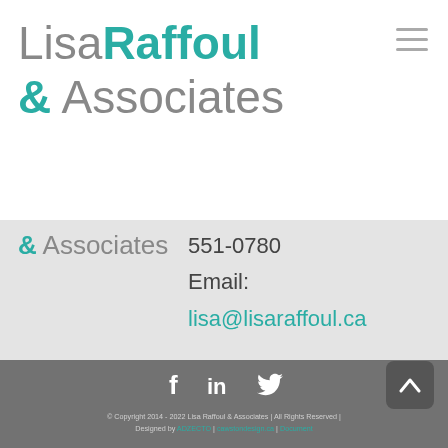[Figure (logo): Lisa Raffoul & Associates logo — 'Lisa' in light gray, 'Raffoul' in bold teal, '& Associates' with '&' in teal and 'Associates' in light gray]
& Associates
551-0780
Email:
lisa@lisaraffoul.ca
© Copyright 2014 - 2022 Lisa Raffoul & Associates | All Rights Reserved | Designed by ADZECTO | cawstondesign.ca | Document